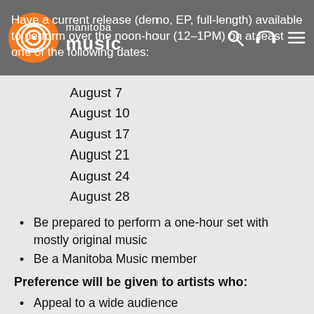Have a current release (demo, EP, full-length) available to perform over the noon-hour (12–1PM) on at least one of the following dates:
August 7
August 10
August 17
August 21
August 24
August 28
Be prepared to perform a one-hour set with mostly original music
Be a Manitoba Music member
Preference will be given to artists who:
Appeal to a wide audience
Have cultivated a local audience and local media coverage